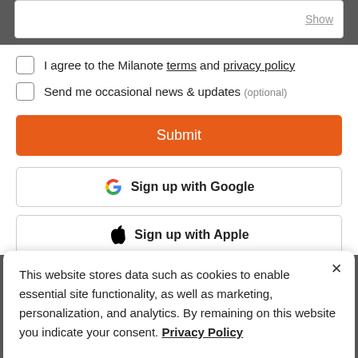[Figure (screenshot): Password input field with 'Show' link on the right side]
I agree to the Milanote terms and privacy policy
Send me occasional news & updates (optional)
Submit
Sign up with Google
Sign up with Apple
This website stores data such as cookies to enable essential site functionality, as well as marketing, personalization, and analytics. By remaining on this website you indicate your consent. Privacy Policy